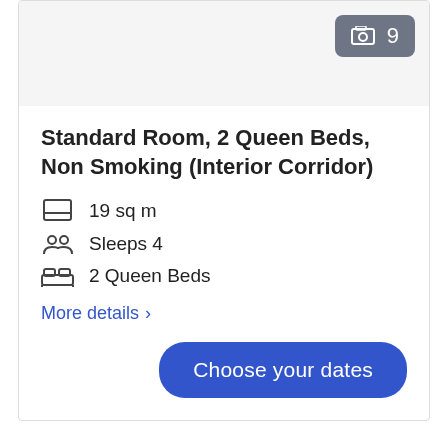[Figure (screenshot): Photo area with image count badge showing 9 photos]
Standard Room, 2 Queen Beds, Non Smoking (Interior Corridor)
19 sq m
Sleeps 4
2 Queen Beds
More details >
Choose your dates
About this area
Lake Placid
Located in Lake Placid, Rodeway Inn is in the mountains and in a state park. Lake Placid Club Golf Courses and Craig Wood Golf